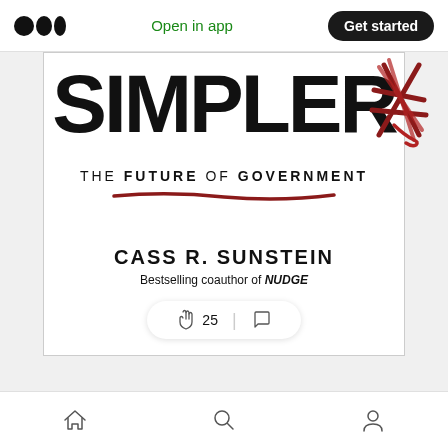Open in app  Get started
[Figure (illustration): Book cover for 'SIMPLER: The Future of Government' by Cass R. Sunstein, bestselling coauthor of NUDGE. The cover shows large bold black text 'SIMPLER' with a red scribble/cross graphic on the right side, subtitle 'THE FUTURE OF GOVERNMENT' in spaced caps with a hand-drawn red underline, author name 'CASS R. SUNSTEIN' in bold caps, and descriptor 'Bestselling coauthor of NUDGE' in italic bold.]
Home  Search  Profile